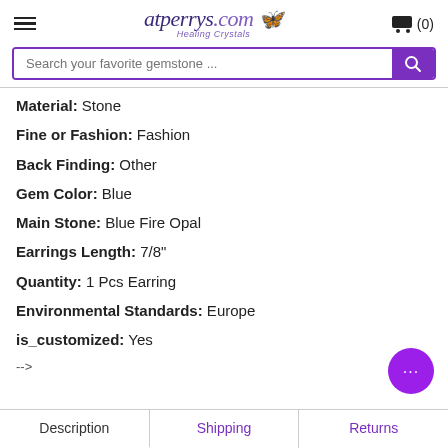atperrys.com Healing Crystals — (0) cart
Search your favorite gemstone ...
Material: Stone
Fine or Fashion: Fashion
Back Finding: Other
Gem Color: Blue
Main Stone: Blue Fire Opal
Earrings Length: 7/8"
Quantity: 1 Pcs Earring
Environmental Standards: Europe
is_customized: Yes
-->
Description | Shipping | Returns